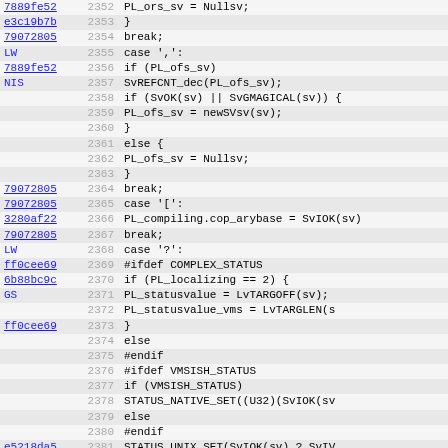[Figure (screenshot): Source code listing showing C/Perl source code lines 2352-2384 with git hash annotations in the left margin, line numbers in the center-left column, and code content on the right. Alternating row highlighting. Hash values are hyperlinked in blue.]